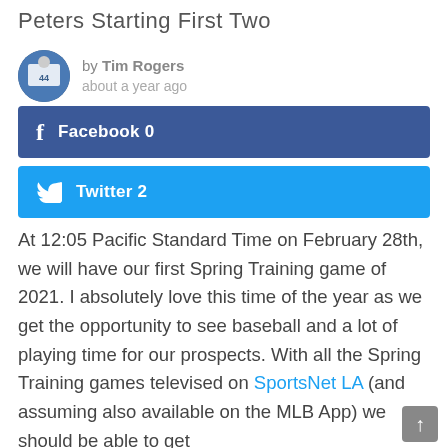Peters Starting First Two
by Tim Rogers
about a year ago
Facebook 0
Twitter 2
At 12:05 Pacific Standard Time on February 28th, we will have our first Spring Training game of 2021. I absolutely love this time of the year as we get the opportunity to see baseball and a lot of playing time for our prospects. With all the Spring Training games televised on SportsNet LA (and assuming also available on the MLB App) we should be able to get